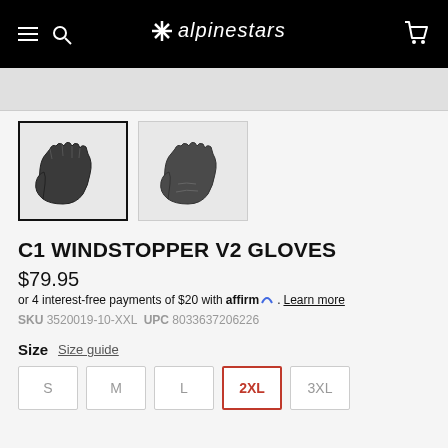Alpinestars
[Figure (photo): Two product thumbnail images of black motorcycle gloves. First thumbnail is selected with dark border. Second shows glove from palm side.]
C1 WINDSTOPPER V2 GLOVES
$79.95
or 4 interest-free payments of $20 with affirm. Learn more
SKU 3520019-10-XXL UPC 8033637206226
Size  Size guide
S  M  L  2XL  3XL